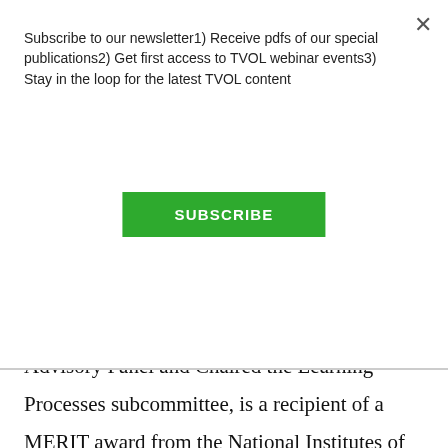Subscribe to our newsletter1) Receive pdfs of our special publications2) Get first access to TVOL webinar events3) Stay in the loop for the latest TVOL content
SUBSCRIBE
Advisory Panel and Chaired the Learning Processes subcommittee, is a recipient of a MERIT award from the National Institutes of Health, and was appointed by President G. W. Bush to the National Board of Directors for the Institute for Education Sciences, among other activities and distinctions.